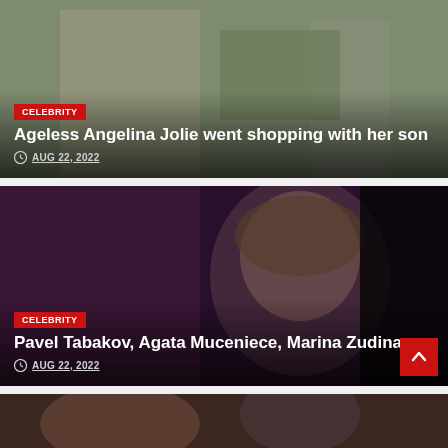[Figure (photo): Celebrity article card showing Angelina Jolie walking with her son, with a CELEBRITY badge, headline, and date]
CELEBRITY
Ageless Angelina Jolie went shopping with her son
AUG 22, 2022
[Figure (photo): Celebrity article card showing Pavel Tabakov in dark setting, with a CELEBRITY badge, headline, and date]
CELEBRITY
Pavel Tabakov, Agata Muceniece, Marina Zudina
AUG 22, 2022
[Figure (photo): Partially visible third article card at the bottom of the page]